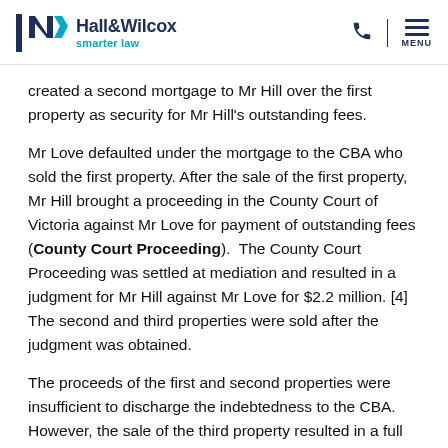Hall&Wilcox smarter law
created a second mortgage to Mr Hill over the first property as security for Mr Hill's outstanding fees.
Mr Love defaulted under the mortgage to the CBA who sold the first property. After the sale of the first property, Mr Hill brought a proceeding in the County Court of Victoria against Mr Love for payment of outstanding fees (County Court Proceeding). The County Court Proceeding was settled at mediation and resulted in a judgment for Mr Hill against Mr Love for $2.2 million. [4] The second and third properties were sold after the judgment was obtained.
The proceeds of the first and second properties were insufficient to discharge the indebtedness to the CBA. However, the sale of the third property resulted in a full